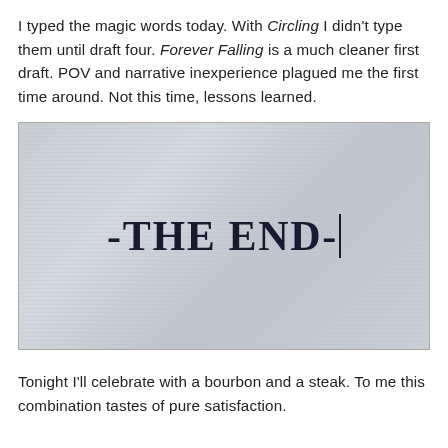I typed the magic words today. With Circling I didn't type them until draft four. Forever Falling is a much cleaner first draft. POV and narrative inexperience plagued me the first time around. Not this time, lessons learned.
[Figure (screenshot): A screenshot of a word processor or text editor showing '-THE END-|' typed in large bold serif font on a light gray background, with a blinking text cursor at the end.]
Tonight I'll celebrate with a bourbon and a steak. To me this combination tastes of pure satisfaction.